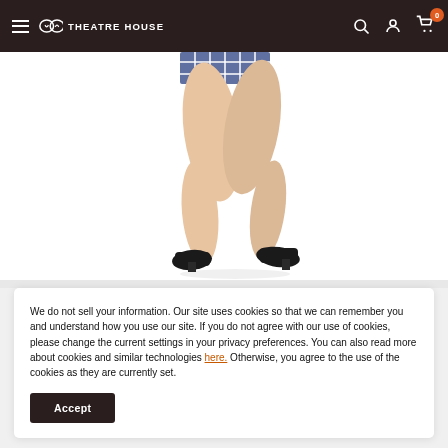Theatre House
[Figure (photo): Cropped product photo showing a person's legs from mid-thigh down, wearing black low-heeled pumps and a plaid skirt, walking pose on white background]
We do not sell your information. Our site uses cookies so that we can remember you and understand how you use our site. If you do not agree with our use of cookies, please change the current settings in your privacy preferences. You can also read more about cookies and similar technologies here. Otherwise, you agree to the use of the cookies as they are currently set.
Accept